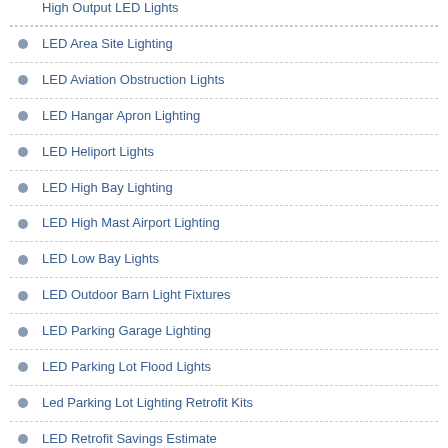High Output LED Lights
LED Area Site Lighting
LED Aviation Obstruction Lights
LED Hangar Apron Lighting
LED Heliport Lights
LED High Bay Lighting
LED High Mast Airport Lighting
LED Low Bay Lights
LED Outdoor Barn Light Fixtures
LED Parking Garage Lighting
LED Parking Lot Flood Lights
Led Parking Lot Lighting Retrofit Kits
LED Retrofit Savings Estimate
LED Street Light Fixtures
LED Street Lights